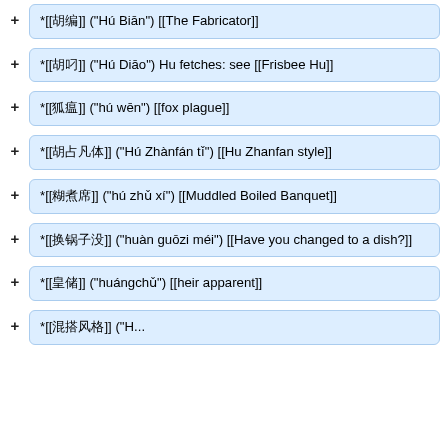*[[胡编]] ("Hú Biān") [[The Fabricator]]
*[[胡叼]] ("Hú Diāo") Hu fetches: see [[Frisbee Hu]]
*[[狐瘟]] ("hú wēn") [[fox plague]]
*[[胡占凡体]] ("Hú Zhànfán tǐ") [[Hu Zhanfan style]]
*[[糊煮席]] ("hú zhǔ xí") [[Muddled Boiled Banquet]]
*[[换锅子没]] ("huàn guōzi méi") [[Have you changed to a dish?]]
*[[皇储]] ("huángchǔ") [[heir apparent]]
*[[混搭风格]] ("H..."